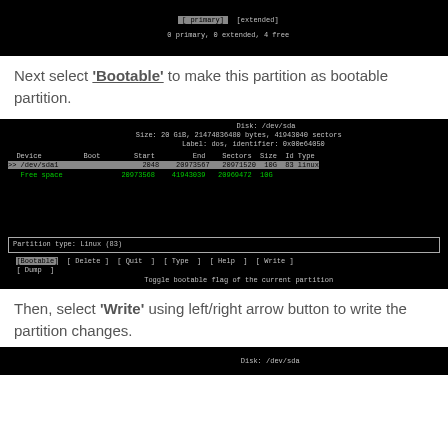[Figure (screenshot): Terminal screen showing partition type selection with [ primary] [extended] options and '0 primary, 0 extended, 4 free' text]
Next select 'Bootable' to make this partition as bootable partition.
[Figure (screenshot): Terminal cfdisk screen showing Disk: /dev/sda, partition table with /dev/sda1 and Free space, Partition type: Linux (83), menu bar with [Bootable] highlighted, and 'Toggle bootable flag of the current partition' status]
Then, select 'Write' using left/right arrow button to write the partition changes.
[Figure (screenshot): Terminal screen showing Disk: /dev/sda header (partial, bottom of page)]